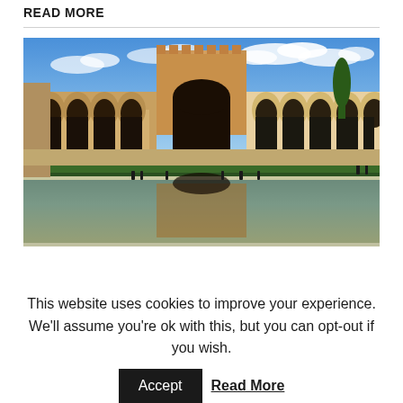READ MORE
[Figure (photo): Alhambra palace courtyard with reflecting pool, Moorish archways, and a central tower against a blue sky with clouds]
This website uses cookies to improve your experience. We'll assume you're ok with this, but you can opt-out if you wish.
Accept  Read More